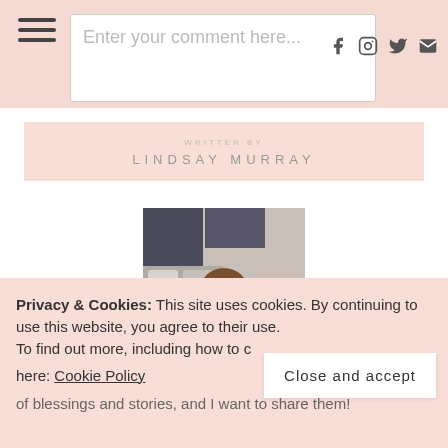Enter your comment here...
LINDSAY MURRAY
[Figure (photo): Portrait photo of Lindsay Murray, a smiling woman with brown hair wearing a mustard yellow cardigan, seated in front of a couch with pillows]
Privacy & Cookies: This site uses cookies. By continuing to use this website, you agree to their use. To find out more, including how to control cookies, see here: Cookie Policy
of blessings and stories, and I want to share them!